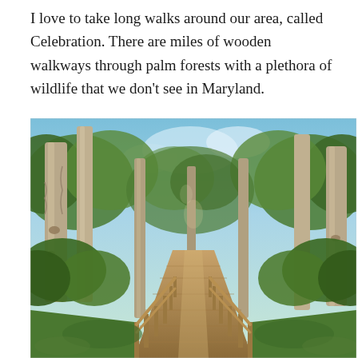I love to take long walks around our area, called Celebration. There are miles of wooden walkways through palm forests with a plethora of wildlife that we don't see in Maryland.
[Figure (photo): A wooden boardwalk path receding into perspective surrounded by tall palm and cypress trees with green foliage under a bright blue sky, photographed in a natural forest preserve.]